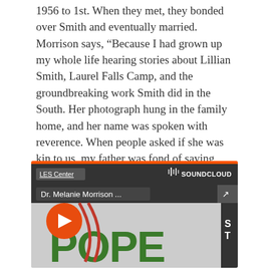1956 to 1st. When they met, they bonded over Smith and eventually married. Morrison says, “Because I had grown up my whole life hearing stories about Lillian Smith, Laurel Falls Camp, and the groundbreaking work Smith did in the South. Her photograph hung in the family home, and her name was spoken with reverence. When people asked if she was kin to us, my father was fond of saying, ‘Well, Lillian Smith is not a biological ancestor, but she is part of that great cloud of witnesses that helps us to carry on.’”
[Figure (screenshot): A SoundCloud embed player showing 'LES Center' as the account name and 'Dr. Melanie Morrison ...' as the track title. The player has an orange play button on the left, a dark header bar, and the background shows partial green text reading 'POPE' with a rope graphic.]